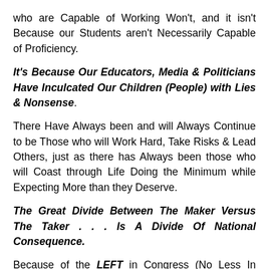who are Capable of Working Won't, and it isn't Because our Students aren't Necessarily Capable of Proficiency.
It's Because Our Educators, Media & Politicians Have Inculcated Our Children (People) with Lies & Nonsense.
There Have Always been and will Always Continue to be Those who will Work Hard, Take Risks & Lead Others, just as there has Always been those who will Coast through Life Doing the Minimum while Expecting More than they Deserve.
The Great Divide Between The Maker Versus The Taker . . . Is A Divide Of National Consequence.
Because of the LEFT in Congress (No Less In Canadian Parliament) and the Piece of Demented